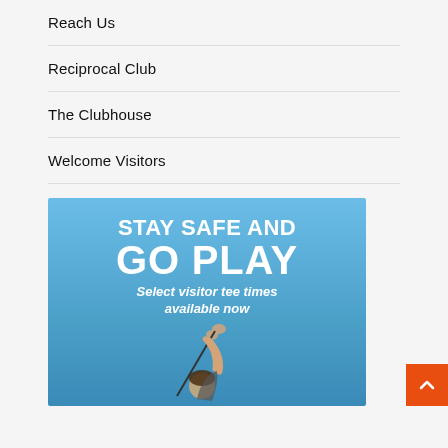Reach Us
Reciprocal Club
The Clubhouse
Welcome Visitors
[Figure (illustration): Promotional banner with sky blue background showing 'STAY SAFE AND GO PLAY — Select visitor tee times available now' with a golfer image below]